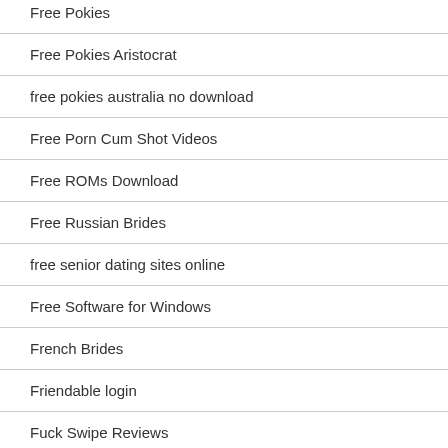Free Pokies
Free Pokies Aristocrat
free pokies australia no download
Free Porn Cum Shot Videos
Free ROMs Download
Free Russian Brides
free senior dating sites online
Free Software for Windows
French Brides
Friendable login
Fuck Swipe Reviews